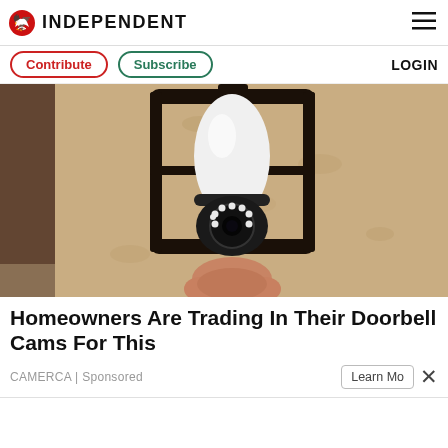INDEPENDENT
Contribute | Subscribe | LOGIN
[Figure (photo): A security camera shaped like a light bulb installed inside an outdoor lantern fixture mounted on a textured stucco wall]
Homeowners Are Trading In Their Doorbell Cams For This
CAMERCA | Sponsored
Learn Mo... ×